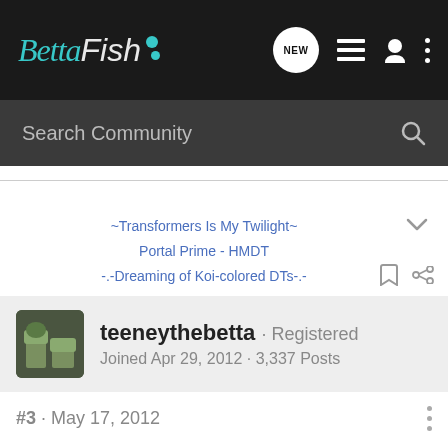Betta Fish · NEW · [nav icons]
Search Community
~Transformers Is My Twilight~
Portal Prime - HMDT
-.-Dreaming of Koi-colored DTs-.-
teeneythebetta · Registered
Joined Apr 29, 2012 · 3,337 Posts
#3 · May 17, 2012
LOL You are so funny!

Is it weird that I'm thinking of naming my java fern now? xP